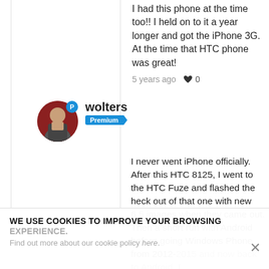I had this phone at the time too!! I held on to it a year longer and got the iPhone 3G. At the time that HTC phone was great!
5 years ago ♥ 0
wolters
Premium
I never went iPhone officially. After this HTC 8125, I went to the HTC Fuze and flashed the heck out of that one with new 6.5 images when they came out. Then a short run with Android before going Windows Phone from 2012-2015 and now back to Android. I
WE USE COOKIES TO IMPROVE YOUR BROWSING EXPERIENCE.
Find out more about our cookie policy here.